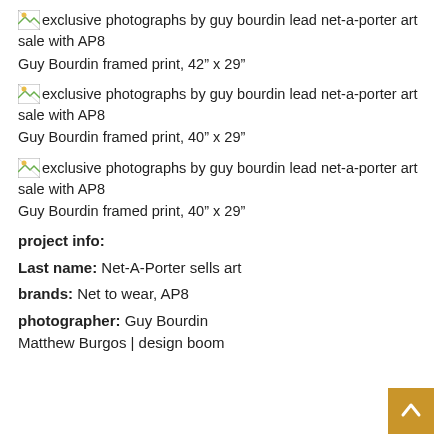[Figure (illustration): Broken image icon placeholder for exclusive photographs by guy bourdin lead net-a-porter art sale with AP8]
Guy Bourdin framed print, 42” x 29”
[Figure (illustration): Broken image icon placeholder for exclusive photographs by guy bourdin lead net-a-porter art sale with AP8]
Guy Bourdin framed print, 40” x 29”
[Figure (illustration): Broken image icon placeholder for exclusive photographs by guy bourdin lead net-a-porter art sale with AP8]
Guy Bourdin framed print, 40” x 29”
project info:
Last name: Net-A-Porter sells art
brands: Net to wear, AP8
photographer: Guy Bourdin
Matthew Burgos | design boom